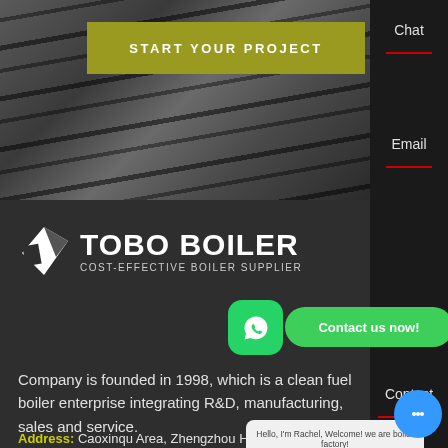[Figure (photo): Industrial/concrete textured background with dark streaks, grayscale]
START YOUR PROJECT
[Figure (logo): TOBO BOILER logo with white geometric icon and text 'TOBO BOILER' and tagline 'COST-EFFECTIVE BOILER SUPPLIER']
Company is founded in 1998, which is a clean fuel boiler enterprise integrating R&D, manufacturing, sales and service.
[Figure (screenshot): WhatsApp green circle icon button]
Contact us now!
Chat
Email
Contact
Hello, I'm Rachel, Welcome! we are boiler factory!
Address: Caoxinqu Area, Zhengzhou Henan China